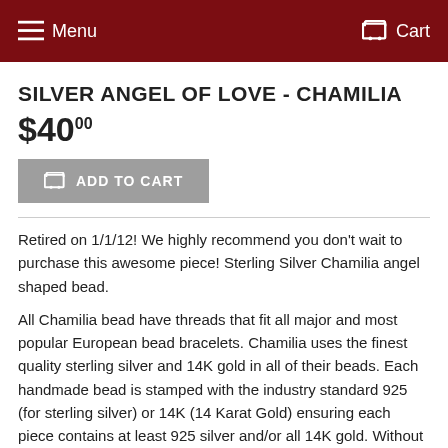Menu  Cart
SILVER ANGEL OF LOVE - CHAMILIA
$40.00
ADD TO CART
Retired on 1/1/12! We highly recommend you don't wait to purchase this awesome piece! Sterling Silver Chamilia angel shaped bead.
All Chamilia bead have threads that fit all major and most popular European bead bracelets. Chamilia uses the finest quality sterling silver and 14K gold in all of their beads. Each handmade bead is stamped with the industry standard 925 (for sterling silver) or 14K (14 Karat Gold) ensuring each piece contains at least 925 silver and/or all 14K gold. Without a marking the